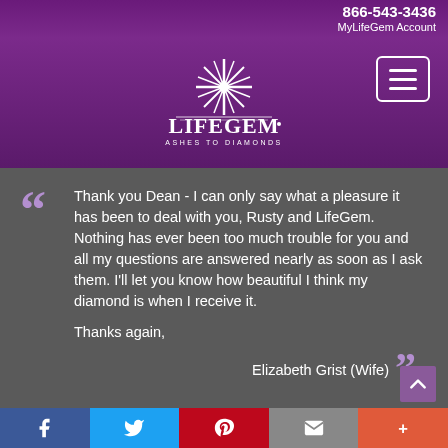866-543-3436 MyLifeGem Account
[Figure (logo): LifeGem Ashes to Diamonds logo with starburst design on purple background, with hamburger menu button top right]
Thank you Dean - I can only say what a pleasure it has been to deal with you, Rusty and LifeGem. Nothing has ever been too much trouble for you and all my questions are answered nearly as soon as I ask them. I'll let you know how beautiful I think my diamond is when I receive it.

Thanks again,

Elizabeth Grist (Wife)
Facebook Twitter Pinterest Email More